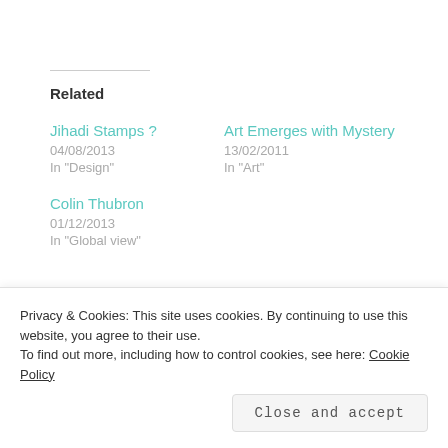Related
Jihadi Stamps ?
04/08/2013
In "Design"
Art Emerges with Mystery
13/02/2011
In "Art"
Colin Thubron
01/12/2013
In "Global view"
11/06/2012
nature
Privacy & Cookies: This site uses cookies. By continuing to use this website, you agree to their use. To find out more, including how to control cookies, see here: Cookie Policy
Close and accept